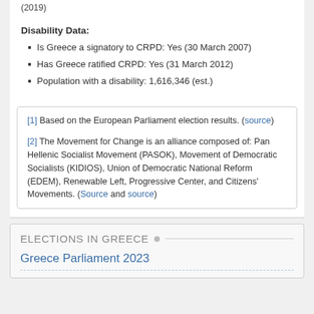(2019)
Disability Data:
Is Greece a signatory to CRPD: Yes (30 March 2007)
Has Greece ratified CRPD: Yes (31 March 2012)
Population with a disability: 1,616,346 (est.)
[1] Based on the European Parliament election results. (source)
[2] The Movement for Change is an alliance composed of: Pan Hellenic Socialist Movement (PASOK), Movement of Democratic Socialists (KIDIOS), Union of Democratic National Reform (EDEM), Renewable Left, Progressive Center, and Citizens' Movements. (Source and source)
ELECTIONS IN GREECE
Greece Parliament 2023